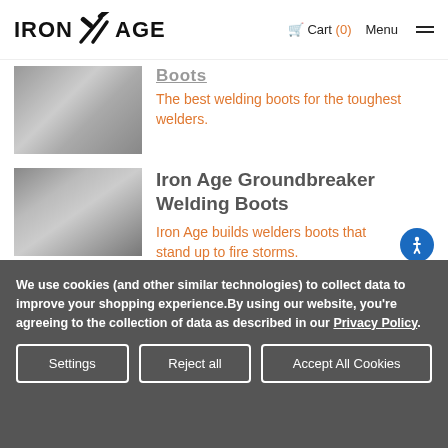IRON AGE  Cart (0)  Menu
Boots
The best welding boots for the toughest welders.
Iron Age Groundbreaker Welding Boots
Iron Age builds welders boots that stand up to fire storms.
We use cookies (and other similar technologies) to collect data to improve your shopping experience.By using our website, you're agreeing to the collection of data as described in our Privacy Policy.
Settings  Reject all  Accept All Cookies